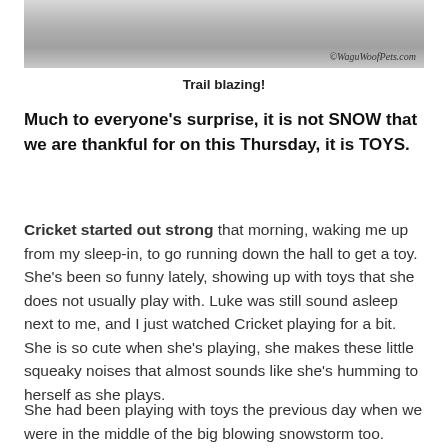[Figure (photo): Partial photo of a snowy outdoor scene, with a watermark reading ©WaguWoofPets.com in the bottom right corner]
Trail blazing!
Much to everyone's surprise, it is not SNOW that we are thankful for on this Thursday, it is TOYS.
Cricket started out strong that morning, waking me up from my sleep-in, to go running down the hall to get a toy. She's been so funny lately, showing up with toys that she does not usually play with. Luke was still sound asleep next to me, and I just watched Cricket playing for a bit. She is so cute when she's playing, she makes these little squeaky noises that almost sounds like she's humming to herself as she plays.
She had been playing with toys the previous day when we were in the middle of the big blowing snowstorm too.